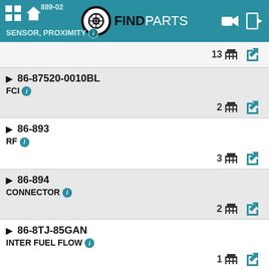FIND PARTS - SENSOR, PROXIMITY
86-87520-0010BL | FCI | 2 suppliers
86-893 | RF | 3 suppliers
86-894 | CONNECTOR | 2 suppliers
86-8TJ-85GAN | INTER FUEL FLOW | 1 supplier
86-8TJ50GBZ | XNSMITTR | 1 supplier